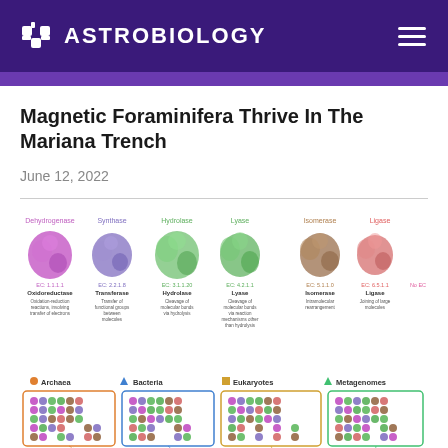ASTROBIOLOGY
Magnetic Foraminifera Thrive In The Mariana Trench
June 12, 2022
[Figure (infographic): Six enzyme types shown as 3D molecular structures with labels: Dehydrogenase (EC: 1.1.1.1, Oxidoreductase - Oxidation-reduction reactions, involving transfer of electrons), Synthase (EC: 2.2.1.8, Transferase - Transfer of functional groups between molecules), Hydrolase (EC: 3.1.1.20, Hydrolase - Cleavage of molecular bonds via hydrolysis), Lyase (EC: 4.2.1.1, Lyase - Cleavage of molecular bonds via reaction mechanisms other than hydrolysis), Isomerase (EC: 5.1.1.0, Isomerase - Intramolecular rearrangement), Ligase (EC: 6.5.1.1, Ligase - Joining of large molecules), and a 7th unlabeled structure with No EC.]
[Figure (infographic): Four organism categories shown with small colored molecular icons: Archaea (orange circle), Bacteria (blue diamond), Eukaryotes (yellow square), Metagenomes (green triangle). Each category shows a grid of mixed enzyme type icons. Below is a partial scatter/line plot showing data points and trend lines for the different organism categories.]